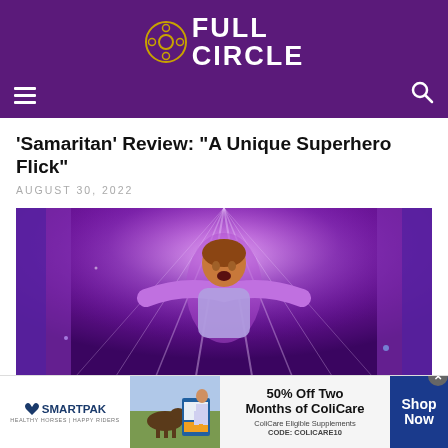Full Circle
'Samaritan' Review: “A Unique Superhero Flick”
AUGUST 30, 2022
[Figure (photo): Movie promotional image for Samaritan showing a man with arms spread against a purple glowing background]
[Figure (infographic): SmartPak advertisement banner: 50% Off Two Months of ColiCare, ColiCare Eligible Supplements, CODE: COLICARE10, Shop Now button]